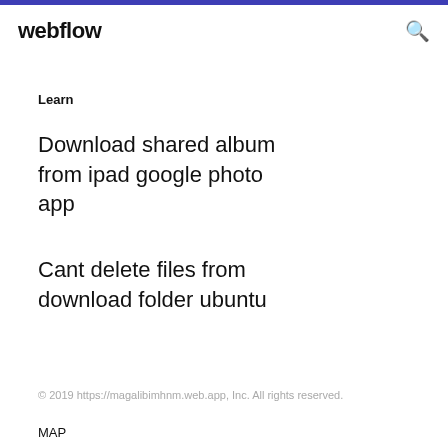webflow
Learn
Download shared album from ipad google photo app
Cant delete files from download folder ubuntu
© 2019 https://magalibimhnm.web.app, Inc. All rights reserved.
MAP